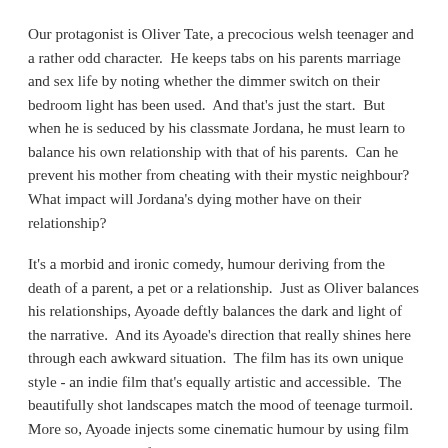Our protagonist is Oliver Tate, a precocious welsh teenager and a rather odd character.  He keeps tabs on his parents marriage and sex life by noting whether the dimmer switch on their bedroom light has been used.  And that's just the start.  But when he is seduced by his classmate Jordana, he must learn to balance his own relationship with that of his parents.  Can he prevent his mother from cheating with their mystic neighbour?  What impact will Jordana's dying mother have on their relationship?
It's a morbid and ironic comedy, humour deriving from the death of a parent, a pet or a relationship.  Just as Oliver balances his relationships, Ayoade deftly balances the dark and light of the narrative.  And its Ayoade's direction that really shines here through each awkward situation.  The film has its own unique style - an indie film that's equally artistic and accessible.  The beautifully shot landscapes match the mood of teenage turmoil.  More so, Ayoade injects some cinematic humour by using film techniques to poke fun at the script, all handled with subtlety.  And though I'm not a fan of Alex Turner, his music is well suited to the film.